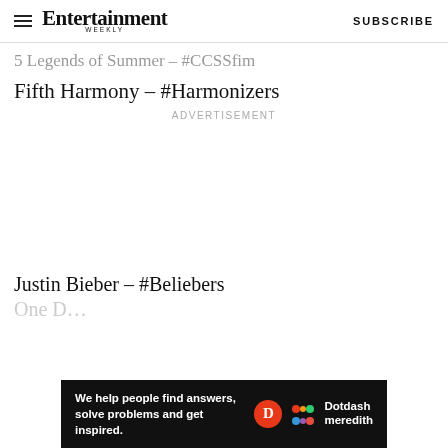Entertainment Weekly — SUBSCRIBE
5 Legends of Summer — #CCSSnm
Fifth Harmony – #Harmonizers
ADVERTISEMENT
Justin Bieber – #Beliebers
One D…
[Figure (other): Dotdash Meredith bottom advertisement banner: 'We help people find answers, solve problems and get inspired.' with Dotdash Meredith logo]